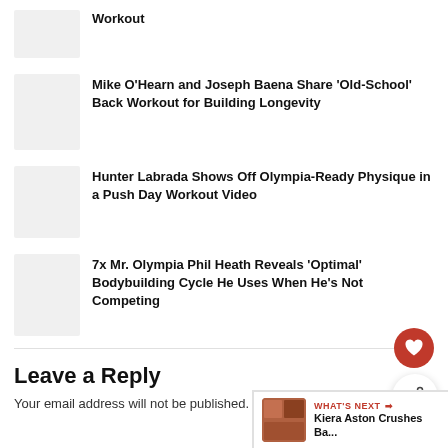Workout
Mike O'Hearn and Joseph Baena Share ‘Old-School’ Back Workout for Building Longevity
Hunter Labrada Shows Off Olympia-Ready Physique in a Push Day Workout Video
7x Mr. Olympia Phil Heath Reveals ‘Optimal’ Bodybuilding Cycle He Uses When He’s Not Competing
Leave a Reply
Your email address will not be published. Required fields are marked *